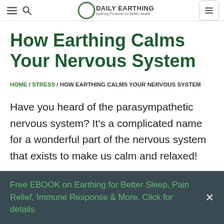Earthing Products for Better Health
How Earthing Calms Your Nervous System
HOME / STRESS / HOW EARTHING CALMS YOUR NERVOUS SYSTEM
Have you heard of the parasympathetic nervous system? It's a complicated name for a wonderful part of the nervous system that exists to make us calm and relaxed!
Free EBOOK on Earthing for Better Sleep, Pain Relief, Immune Response & More. Click for details